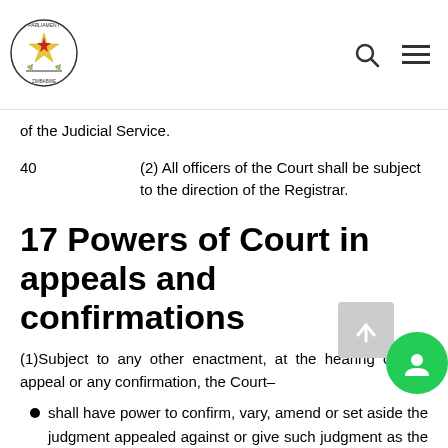Parliament of Zimbabwe
of the Judicial Service.
40    (2) All officers of the Court shall be subject to the direction of the Registrar.
17 Powers of Court in appeals and confirmations
(1)Subject to any other enactment, at the hearing of any appeal or any confirmation, the Court–
shall have power to confirm, vary, amend or set aside the judgment appealed against or give such judgment as the case may require;